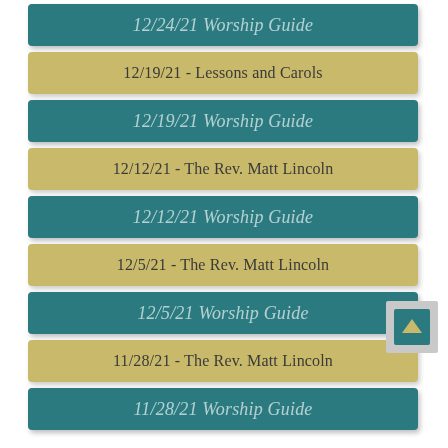12/24/21 Worship Guide
12/19/21 - Lessons and Carols
12/19/21 Worship Guide
12/12/21 - The Rev. Matt Lincoln
12/12/21 Worship Guide
12/5/21 - The Rev. Matt Lincoln
12/5/21 Worship Guide
11/28/21 - The Rev. Matt Lincoln
11/28/21 Worship Guide